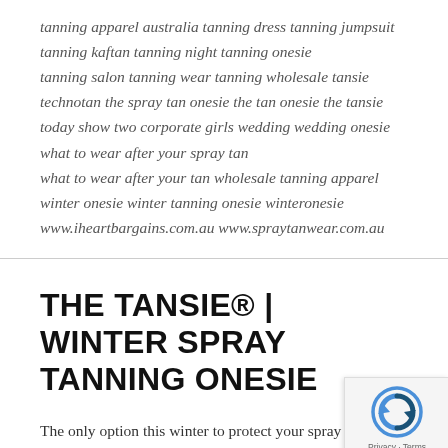tanning apparel australia tanning dress tanning jumpsuit tanning kaftan tanning night tanning onesie tanning salon tanning wear tanning wholesale tansie technotan the spray tan onesie the tan onesie the tansie today show two corporate girls wedding wedding onesie what to wear after your spray tan what to wear after your tan wholesale tanning apparel winter onesie winter tanning onesie winteronesie www.iheartbargains.com.au www.spraytanwear.com.au
THE TANSIE® | WINTER SPRAY TANNING ONESIE
The only option this winter to protect your spray tan and your bed sheets.
Wear a Tansie® to safely protect your tan and...